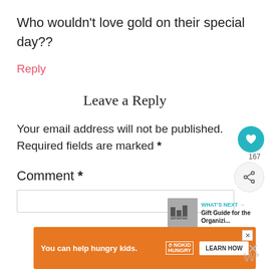Who wouldn't love gold on their special day??
Reply
Leave a Reply
Your email address will not be published. Required fields are marked *
Comment *
[Figure (screenshot): Ad banner: You can help hungry kids. No Kid Hungry. LEARN HOW button.]